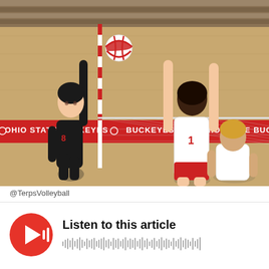[Figure (photo): Volleyball game photo showing a player in black uniform jumping to spike the ball at the net with 'OHIO STATE BUCKEYES' banner visible, while opponent players in white attempt to block]
@TerpsVolleyball
[Figure (infographic): Audio player widget with red circular play button (triangle/sound wave icon) and waveform visualization]
Listen to this article